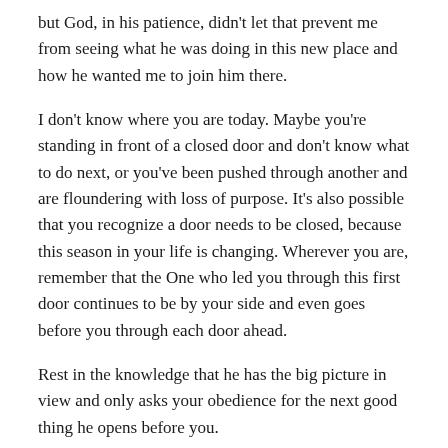but God, in his patience, didn't let that prevent me from seeing what he was doing in this new place and how he wanted me to join him there.
I don't know where you are today. Maybe you're standing in front of a closed door and don't know what to do next, or you've been pushed through another and are floundering with loss of purpose. It's also possible that you recognize a door needs to be closed, because this season in your life is changing. Wherever you are, remember that the One who led you through this first door continues to be by your side and even goes before you through each door ahead.
Rest in the knowledge that he has the big picture in view and only asks your obedience for the next good thing he opens before you.